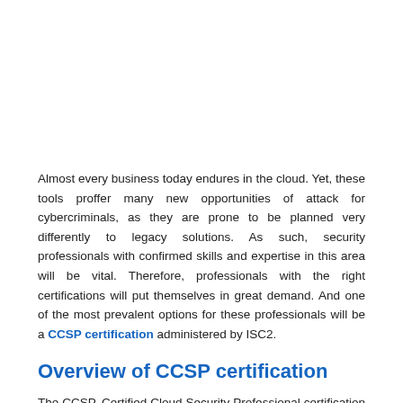Almost every business today endures in the cloud. Yet, these tools proffer many new opportunities of attack for cybercriminals, as they are prone to be planned very differently to legacy solutions. As such, security professionals with confirmed skills and expertise in this area will be vital. Therefore, professionals with the right certifications will put themselves in great demand. And one of the most prevalent options for these professionals will be a CCSP certification administered by ISC2.
Overview of CCSP certification
The CCSP, Certified Cloud Security Professional certification is